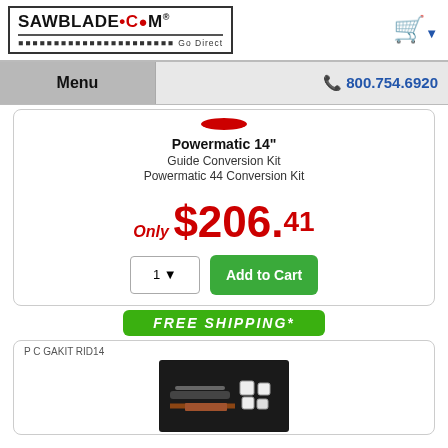[Figure (logo): SAWBLADE.COM Go Direct logo with red dot]
[Figure (other): Shopping cart icon]
Menu
800.754.6920
Powermatic 14"
Guide Conversion Kit
Powermatic 44 Conversion Kit
Only $206.41
1  Add to Cart
FREE SHIPPING*
P C GAKIT RID14
[Figure (photo): Product photo of a guide conversion kit on a dark background]